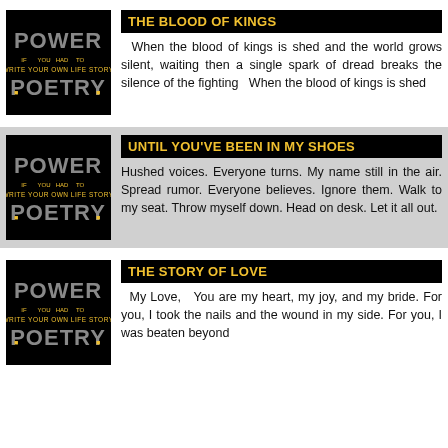[Figure (logo): Power Poetry logo on black background]
THE BLOOD OF KINGS
When the blood of kings is shed and the world grows silent, waiting then a single spark of dread breaks the silence of the fighting   When the blood of kings is shed
[Figure (logo): Power Poetry logo on black background]
UNTIL YOU'VE BEEN IN MY SHOES
Hushed voices. Everyone turns. My name still in the air. Spread rumor. Everyone believes. Ignore them. Walk to my seat. Throw myself down. Head on desk. Let it all out.
[Figure (logo): Power Poetry logo on black background]
THE STORY OF LOVE
My Love,   You are my heart, my joy, and my bride. For you, I took the nails and the wound in my side. For you, I was beaten beyond